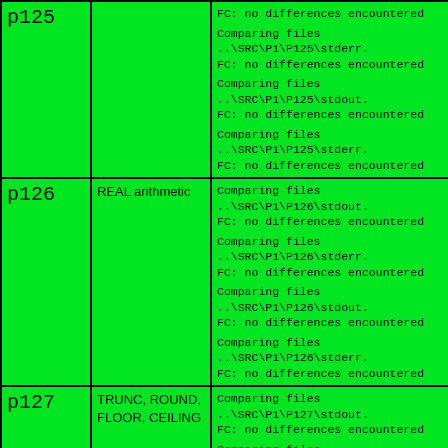| ID | Description | Output |
| --- | --- | --- |
| p125 (cont.) |  | FC: no differences encountered

Comparing files ..\SRC\P1\P125\stderr.
FC: no differences encountered

Comparing files ..\SRC\P1\P125\stdout.
FC: no differences encountered

Comparing files ..\SRC\P1\P125\stderr.
FC: no differences encountered |
| p126 | REAL arithmetic | Comparing files ..\SRC\P1\P126\stdout.
FC: no differences encountered

Comparing files ..\SRC\P1\P126\stderr.
FC: no differences encountered

Comparing files ..\SRC\P1\P126\stdout.
FC: no differences encountered

Comparing files ..\SRC\P1\P126\stderr.
FC: no differences encountered |
| p127 | TRUNC, ROUND, FLOOR, CEILING | Comparing files ..\SRC\P1\P127\stdout.
FC: no differences encountered

Comparing files ..\SRC\P1\P127\stderr.
FC: no differences encountered

Comparing files ..\SRC\P1\P127\stdout.
FC: no differences encountered

Comparing files ..\SRC\P1\P127\stderr.
FC: no differences encountered |